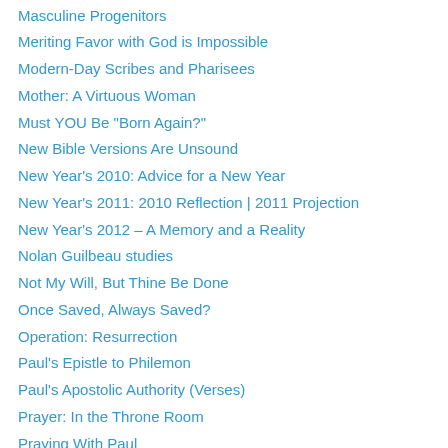Masculine Progenitors
Meriting Favor with God is Impossible
Modern-Day Scribes and Pharisees
Mother: A Virtuous Woman
Must YOU Be "Born Again?"
New Bible Versions Are Unsound
New Year's 2010: Advice for a New Year
New Year's 2011: 2010 Reflection | 2011 Projection
New Year's 2012 – A Memory and a Reality
Nolan Guilbeau studies
Not My Will, But Thine Be Done
Once Saved, Always Saved?
Operation: Resurrection
Paul's Epistle to Philemon
Paul's Apostolic Authority (Verses)
Prayer: In the Throne Room
Praying With Paul
Psukhē – Biblical Psychology / Repentance / Depression / Addictions
Pure Abounding Grace
Purgatory Does Not Exist